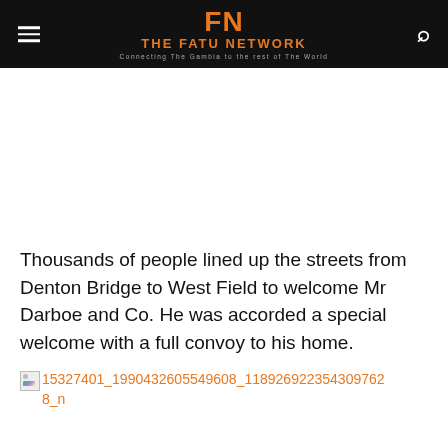FN THE FATU NETWORK Connecting The Gambia to the rest of The World
Thousands of people lined up the streets from Denton Bridge to West Field to welcome Mr Darboe and Co. He was accorded a special welcome with a full convoy to his home.
[Figure (photo): Broken image placeholder with filename link: 15327401_1990432605549608_11892692235430976 28_n]